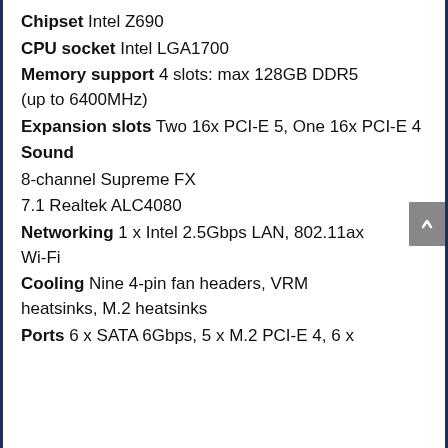Chipset Intel Z690
CPU socket Intel LGA1700
Memory support 4 slots: max 128GB DDR5 (up to 6400MHz)
Expansion slots Two 16x PCI-E 5, One 16x PCI-E 4
Sound
8-channel Supreme FX
7.1 Realtek ALC4080
Networking 1 x Intel 2.5Gbps LAN, 802.11ax Wi-Fi
Cooling Nine 4-pin fan headers, VRM heatsinks, M.2 heatsinks
Ports 6 x SATA 6Gbps, 5 x M.2 PCI-E 4, 6 x